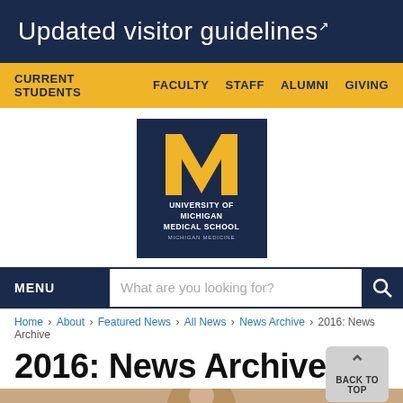Updated visitor guidelines
CURRENT STUDENTS  FACULTY  STAFF  ALUMNI  GIVING
[Figure (logo): University of Michigan Medical School - Michigan Medicine logo on navy background with gold block M]
MENU  What are you looking for?
Home › About › Featured News › All News › News Archive › 2016: News Archive
2016: News Archive